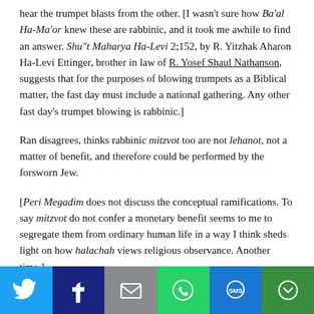hear the trumpet blasts from the other. [I wasn't sure how Ba'al Ha-Ma'or knew these are rabbinic, and it took me awhile to find an answer. Shu"t Maharya Ha-Levi 2;152, by R. Yitzhak Aharon Ha-Levi Ettinger, brother in law of R. Yosef Shaul Nathanson, suggests that for the purposes of blowing trumpets as a Biblical matter, the fast day must include a national gathering. Any other fast day's trumpet blowing is rabbinic.]
Ran disagrees, thinks rabbinic mitzvot too are not lehanot, not a matter of benefit, and therefore could be performed by the forsworn Jew.
[Peri Megadim does not discuss the conceptual ramifications. To say mitzvot do not confer a monetary benefit seems to me to segregate them from ordinary human life in a way I think sheds light on how halachah views religious observance. Another time.]
Prospective or Retrospective?
[Figure (infographic): Social sharing bar with icons for Twitter, Facebook, Email, WhatsApp, SMS, and More]